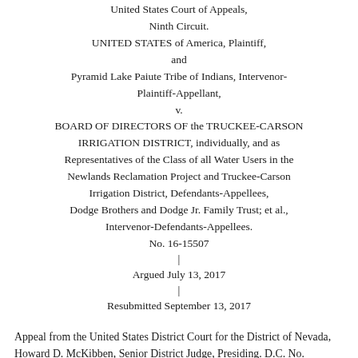United States Court of Appeals, Ninth Circuit. UNITED STATES of America, Plaintiff, and Pyramid Lake Paiute Tribe of Indians, Intervenor-Plaintiff-Appellant, v. BOARD OF DIRECTORS OF the TRUCKEE-CARSON IRRIGATION DISTRICT, individually, and as Representatives of the Class of all Water Users in the Newlands Reclamation Project and Truckee-Carson Irrigation District, Defendants-Appellees, Dodge Brothers and Dodge Jr. Family Trust; et al., Intervenor-Defendants-Appellees. No. 16-15507 | Argued July 13, 2017 | Resubmitted September 13, 2017
Appeal from the United States District Court for the District of Nevada, Howard D. McKibben, Senior District Judge, Presiding. D.C. No. 3:95-cv-00757-HDM